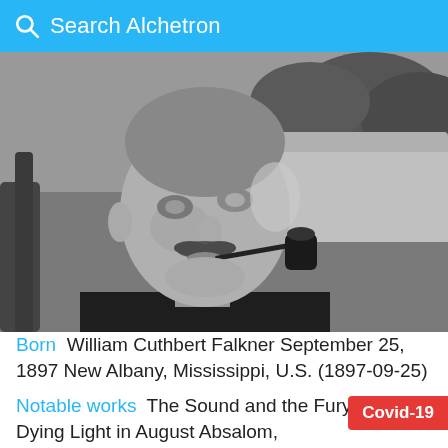Search Alchetron
[Figure (photo): Black and white photograph of William Faulkner, a man with a mustache smoking a pipe, seated outdoors, looking upward.]
Born  William Cuthbert Falkner September 25, 1897 New Albany, Mississippi, U.S. (1897-09-25)
Notable works  The Sound and the Fury As I Lay Dying Light in August Absalom, Absalom, for Emily
Covid-19